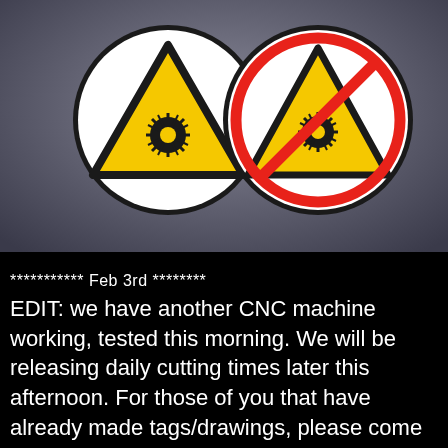[Figure (photo): Two circular pin badges on a gray surface. The left badge is white with a yellow laser hazard warning triangle (black burst/star in center). The right badge is white with the same laser hazard triangle inside a red prohibition circle with a diagonal red stripe through it.]
*********** Feb 3rd ********
EDIT: we have another CNC machine working, tested this morning. We will be releasing daily cutting times later this afternoon. For those of you that have already made tags/drawings, please come by our station sometime today.